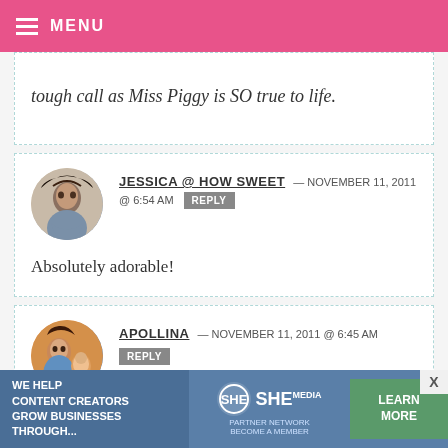MENU
tough call as Miss Piggy is SO true to life.
JESSICA @ HOW SWEET — NOVEMBER 11, 2011 @ 6:54 AM REPLY
Absolutely adorable!
APOLLINA — NOVEMBER 11, 2011 @ 6:45 AM REPLY
I'm in love with/awe of you. You are
[Figure (infographic): SHE Media Partner Network advertisement banner: 'WE HELP CONTENT CREATORS GROW BUSINESSES THROUGH...' with SHE logo and LEARN MORE button]